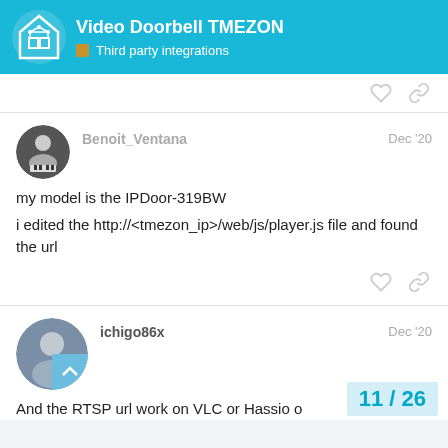Video Doorbell TMEZON — Third party integrations
Benoit_Ventana  Dec '20
my model is the IPDoor-319BW
i edited the http://<tmezon_ip>/web/js/player.js file and found the url
ichigo86x  Dec '20
And the RTSP url work on VLC or Hassio o
11 / 26